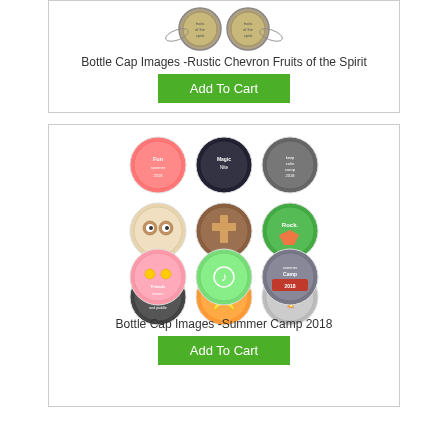[Figure (photo): Two rustic chevron bottle cap images with fruits of the spirit design]
Bottle Cap Images -Rustic Chevron Fruits of the Spirit
Add To Cart
[Figure (photo): Grid of 12 bottle cap images with summer camp 2018 themed designs]
Bottle Cap Images -Summer Camp 2018
Add To Cart